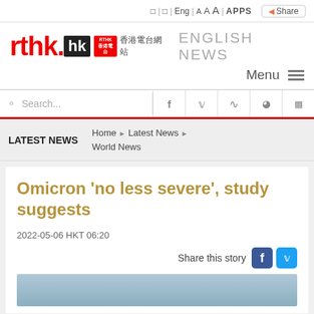□ | □ | Eng | A A A | APPS | Share
[Figure (logo): RTHK.hk logo with red text 'rthk.' and white-on-black 'hk' box, RTHK badge, Chinese text '香港電台網站', and grey 'ENGLISH NEWS' text]
Menu ≡
Search...
LATEST NEWS   Home ▶ Latest News ▶ World News
Omicron 'no less severe', study suggests
2022-05-06 HKT 06:20
Share this story
[Figure (photo): Bottom portion of article page showing a partial image (sky/blue tones) at the bottom of the card]